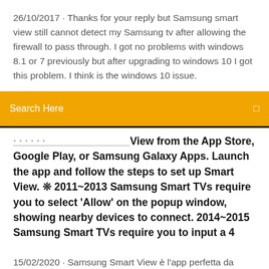26/10/2017 · Thanks for your reply but Samsung smart view still cannot detect my Samsung tv after allowing the firewall to pass through. I got no problems with windows 8.1 or 7 previously but after upgrading to windows 10 I got this problem. I think is the windows 10 issue.
Search Here
View from the App Store, Google Play, or Samsung Galaxy Apps. Launch the app and follow the steps to set up Smart View. ❊ 2011~2013 Samsung Smart TVs require you to select 'Allow' on the popup window, showing nearby devices to connect. 2014~2015 Samsung Smart TVs require you to input a 4
15/02/2020 · Samsung Smart View è l'app perfetta da installare sul tuo smartphone Samsung e da utilizzare per controllare qualsiasi TV del marchio coreano in modo intuitivo. Con questa app, potrai controllare ciò che guardi sulla TV senza